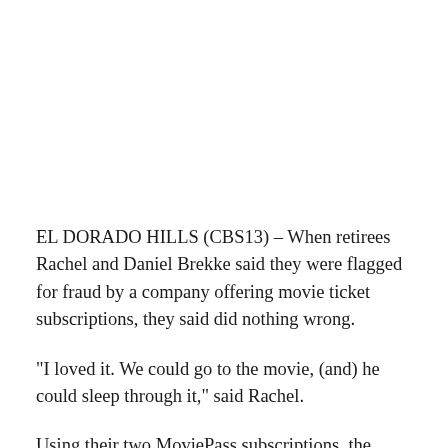EL DORADO HILLS (CBS13) – When retirees Rachel and Daniel Brekke said they were flagged for fraud by a company offering movie ticket subscriptions, they said did nothing wrong.
"I loved it. We could go to the movie, (and) he could sleep through it," said Rachel.
Using their two MoviePass subscriptions, the Brekkes